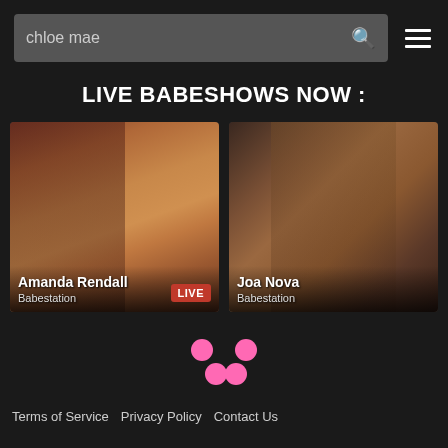chloe mae
LIVE BABESHOWS NOW :
[Figure (photo): Photo of Amanda Rendall from Babestation with a LIVE badge]
[Figure (photo): Photo of Joa Nova from Babestation]
[Figure (other): Loading indicator with four pink dots]
Terms of Service   Privacy Policy   Contact Us